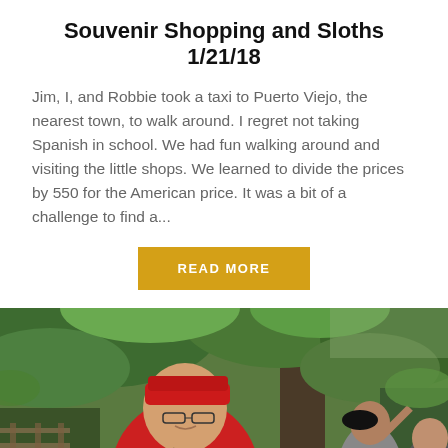Souvenir Shopping and Sloths 1/21/18
Jim, I, and Robbie took a taxi to Puerto Viejo, the nearest town, to walk around. I regret not taking Spanish in school. We had fun walking around and visiting the little shops. We learned to divide the prices by 550 for the American price. It was a bit of a challenge to find a...
READ MORE
[Figure (photo): Young man in red shirt and cap smiling outdoors in a tropical garden setting, with two other people visible in the background near trees and green foliage.]